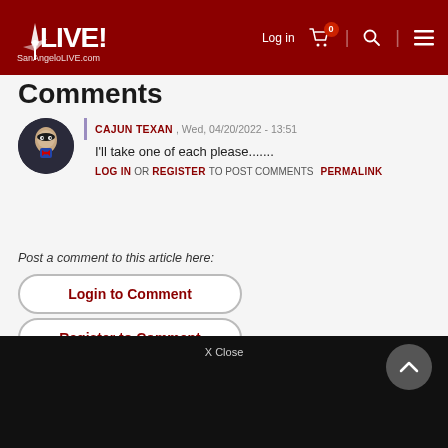SanAngeloLIVE.com — Log in | 0 | search | menu
Comments
CAJUN TEXAN, Wed, 04/20/2022 - 13:51
I'll take one of each please.......
LOG IN OR REGISTER TO POST COMMENTS   PERMALINK
Post a comment to this article here:
Login to Comment
Register to Comment
X Close